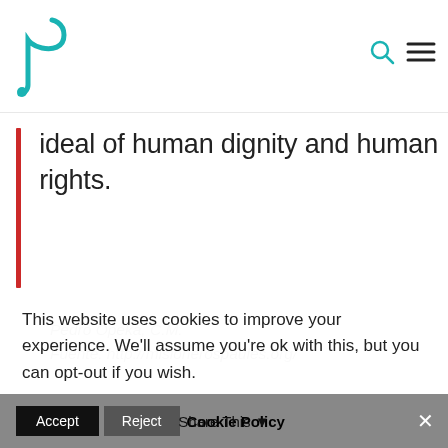ideal of human dignity and human rights.
Pedro Opeka, C.M.
Fuente: http://misionerospaules.org/
Related
[Figure (photo): Two thumbnail photos related to article content]
This website uses cookies to improve your experience. We'll assume you're ok with this, but you can opt-out if you wish.
Accept  Reject  Cookie Policy  Share This  ✕